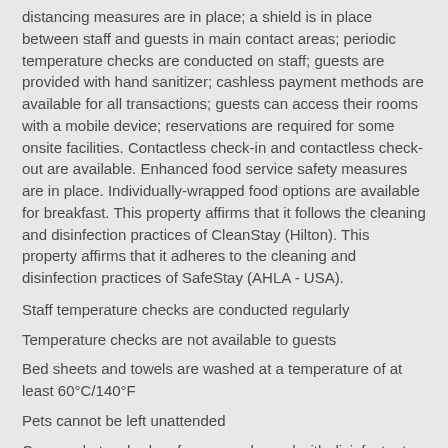distancing measures are in place; a shield is in place between staff and guests in main contact areas; periodic temperature checks are conducted on staff; guests are provided with hand sanitizer; cashless payment methods are available for all transactions; guests can access their rooms with a mobile device; reservations are required for some onsite facilities. Contactless check-in and contactless check-out are available. Enhanced food service safety measures are in place. Individually-wrapped food options are available for breakfast. This property affirms that it follows the cleaning and disinfection practices of CleanStay (Hilton). This property affirms that it adheres to the cleaning and disinfection practices of SafeStay (AHLA - USA).
Staff temperature checks are conducted regularly
Temperature checks are not available to guests
Bed sheets and towels are washed at a temperature of at least 60°C/140°F
Pets cannot be left unattended
Commonly-touched surfaces are cleaned with disinfectant
Property confirms they are implementing guest safety measures
Contactless check-out is available
Property follows sanitization practices of SafeStay (AHLA - USA)
Staffed front desk